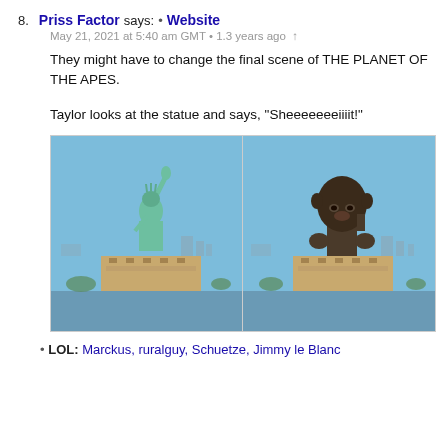8. Priss Factor says: • Website
May 21, 2021 at 5:40 am GMT • 1.3 years ago ↑
They might have to change the final scene of THE PLANET OF THE APES.
Taylor looks at the statue and says, "Sheeeeeeeiiiit!"
[Figure (photo): Side-by-side comparison of two versions of the Statue of Liberty on its pedestal in New York Harbor. Left: the real Statue of Liberty with green patina torch raised. Right: an edited version where the head is replaced with a stylized large ape/monkey head sculpture, dark bronze colored. Both have the same city skyline background.]
• LOL: Marckus, ruralguy, Schuetze, Jimmy le Blanc